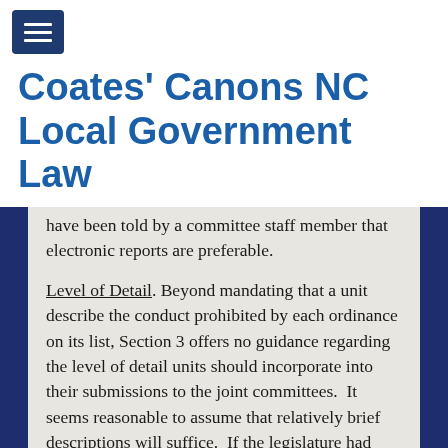[Figure (other): Navigation menu button (hamburger icon) in dark navy blue square]
Coates’ Canons NC Local Government Law
have been told by a committee staff member that electronic reports are preferable.
Level of Detail. Beyond mandating that a unit describe the conduct prohibited by each ordinance on its list, Section 3 offers no guidance regarding the level of detail units should incorporate into their submissions to the joint committees.  It seems reasonable to assume that relatively brief descriptions will suffice.  If the legislature had wanted units to supply